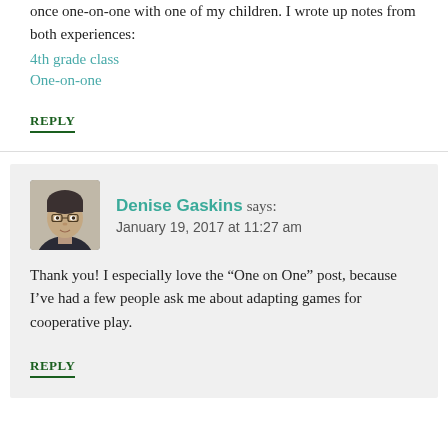once one-on-one with one of my children. I wrote up notes from both experiences:
4th grade class
One-on-one
REPLY
[Figure (photo): Avatar photo of Denise Gaskins, a woman with short hair and glasses]
Denise Gaskins says: January 19, 2017 at 11:27 am
Thank you! I especially love the “One on One” post, because I’ve had a few people ask me about adapting games for cooperative play.
REPLY